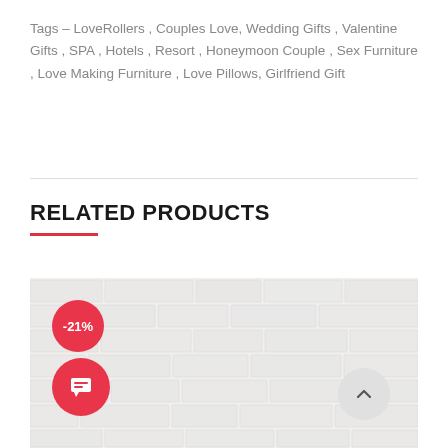Tags – LoveRollers , Couples Love, Wedding Gifts , Valentine Gifts , SPA , Hotels , Resort , Honeymoon Couple , Sex Furniture , Love Making Furniture , Love Pillows, Girlfriend Gift
RELATED PRODUCTS
[Figure (photo): Product image area showing a white brick wall background with a -21% discount badge (red circle, top left), a chat button (red circle with chat icon, bottom left), and a scroll-to-top button (grey circle with up chevron, bottom right).]